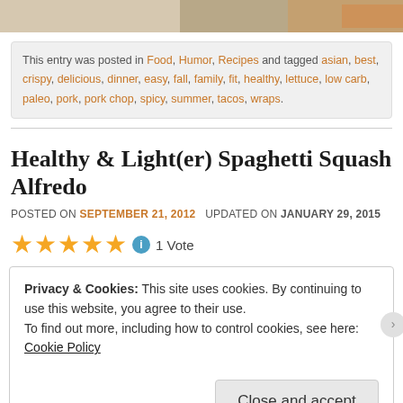[Figure (photo): Top strip showing partial food photo with warm beige/cream tones]
This entry was posted in Food, Humor, Recipes and tagged asian, best, crispy, delicious, dinner, easy, fall, family, fit, healthy, lettuce, low carb, paleo, pork, pork chop, spicy, summer, tacos, wraps.
Healthy & Light(er) Spaghetti Squash Alfredo
POSTED ON SEPTEMBER 21, 2012  UPDATED ON JANUARY 29, 2015
★★★★★ ⓘ 1 Vote
Privacy & Cookies: This site uses cookies. By continuing to use this website, you agree to their use.
To find out more, including how to control cookies, see here: Cookie Policy
Close and accept